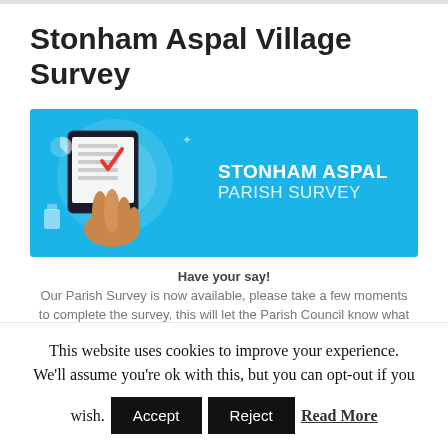Stonham Aspal Village Survey
[Figure (illustration): Stonham Aspal Parish Survey banner with light blue background, showing a hand pointing at a tablet/clipboard with a checklist and red checkmark, alongside text reading STONHAM ASPAL PARISH SURVEY in white bold letters.]
Have your say! Our Parish Survey is now available, please take a few moments to complete the survey, this will let the Parish Council know what
This website uses cookies to improve your experience. We'll assume you're ok with this, but you can opt-out if you wish. Accept Reject Read More